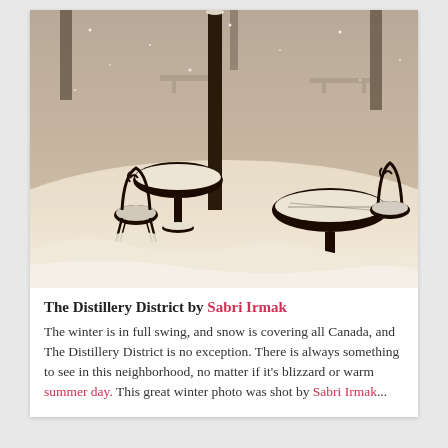[Figure (photo): A sepia-toned winter photograph showing outdoor cafe furniture — wrought iron chairs and round tables — buried in deep snow in The Distillery District. A lamppost or pole stands in the background, with snow-covered trees and park benches visible in the distance.]
The Distillery District by Sabri Irmak The winter is in full swing, and snow is covering all Canada, and The Distillery District is no exception. There is always something to see in this neighborhood, no matter if it's blizzard or warm summer day. This great winter photo was shot by Sabri Irmak...